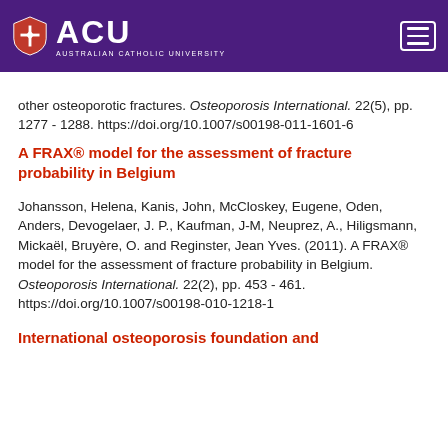[Figure (logo): Australian Catholic University (ACU) logo with shield on purple header background]
other osteoporotic fractures. Osteoporosis International. 22(5), pp. 1277 - 1288. https://doi.org/10.1007/s00198-011-1601-6
A FRAX® model for the assessment of fracture probability in Belgium
Johansson, Helena, Kanis, John, McCloskey, Eugene, Oden, Anders, Devogelaer, J. P., Kaufman, J-M, Neuprez, A., Hiligsmann, Mickaël, Bruyère, O. and Reginster, Jean Yves. (2011). A FRAX® model for the assessment of fracture probability in Belgium. Osteoporosis International. 22(2), pp. 453 - 461. https://doi.org/10.1007/s00198-010-1218-1
International osteoporosis foundation and